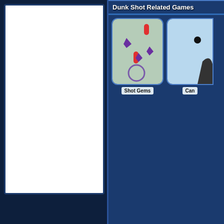[Figure (screenshot): White card placeholder on top-left of page]
Dunk Shot Related Games
[Figure (screenshot): Shot Gems game thumbnail: green background with purple gem shapes and red capsule shapes scattered, circular target ring at bottom]
Shot Gems
[Figure (screenshot): Second game thumbnail (partially visible): light blue background with black dot and dark bird/character shape at edge]
Can
[Figure (screenshot): White card placeholder in lower right area of page]